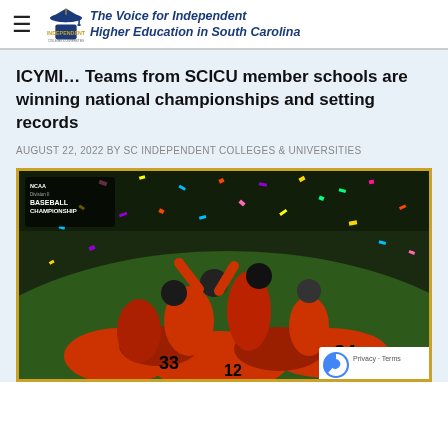The Voice for Independent Higher Education in South Carolina
ICYMI… Teams from SCICU member schools are winning national championships and setting records
AUGUST 22, 2022 BY SC INDEPENDENT COLLEGES & UNIVERSITIES
[Figure (photo): Baseball players in orange uniforms celebrating in a pile on the field with colorful confetti falling, NCAA Division II Baseball Championship logo visible in upper left corner]